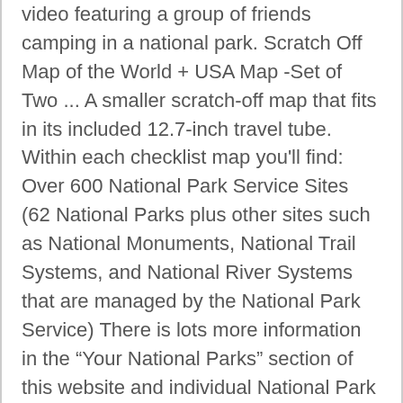video featuring a group of friends camping in a national park. Scratch Off Map of the World + USA Map -Set of Two ... A smaller scratch-off map that fits in its included 12.7-inch travel tube. Within each checklist map you'll find: Over 600 National Park Service Sites (62 National Parks plus other sites such as National Monuments, National Trail Systems, and National River Systems that are managed by the National Park Service) There is lots more information in the “Your National Parks” section of this website and individual National Park websites will also have additional resources, information and advice. Use the table below to search for and sort through the Idaho Scratch Game lottery tickets currently for sale in ID. Within each checklist map you'll find: Over 600 National Park Service Sites (62 National Parks plus other sites such as National Monuments, National Trail Systems, and National River Systems that are